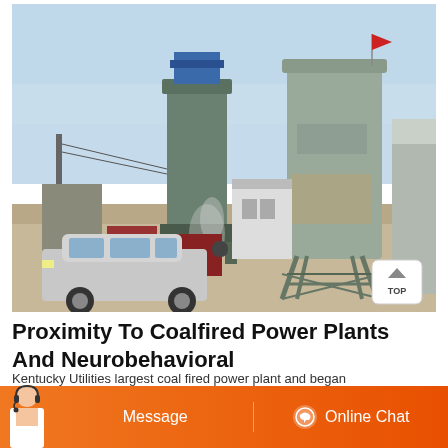[Figure (photo): Industrial facility with two large cylindrical silos/storage towers, industrial buildings, a red truck, a silver SUV in the foreground, and a hazy sky. A 'TOP' button icon is visible in the lower right of the image.]
Proximity To Coalfired Power Plants And Neurobehavioral
Kentucky Utilities largest coal fired power plant and began